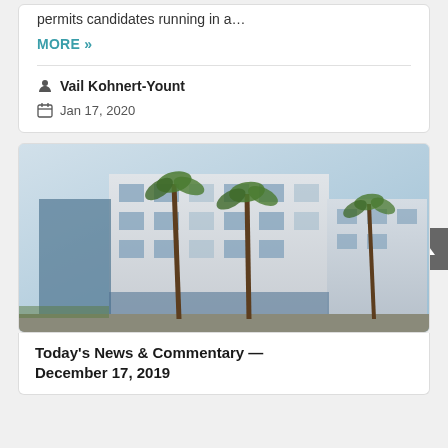permits candidates running in a…
MORE »
Vail Kohnert-Yount
Jan 17, 2020
[Figure (photo): Modern multi-story building with palm trees in front, photographed from street level against a bright sky.]
Today's News & Commentary — December 17, 2019